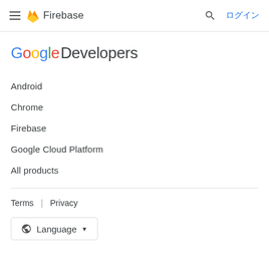Firebase — ログイン
[Figure (logo): Google Developers logo with colored Google text and grey Developers text]
Android
Chrome
Firebase
Google Cloud Platform
All products
Terms  |  Privacy
Language ▼